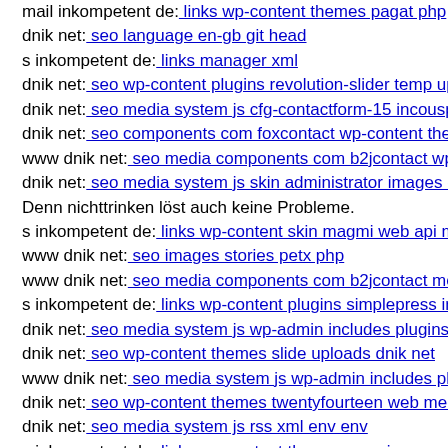mail inkompetent de: links wp-content themes pagat php
dnik net: seo language en-gb git head
s inkompetent de: links manager xml
dnik net: seo wp-content plugins revolution-slider temp up
dnik net: seo media system js cfg-contactform-15 incousp
dnik net: seo components com foxcontact wp-content them
www dnik net: seo media components com b2jcontact wp-
dnik net: seo media system js skin administrator images co
Denn nichttrinken löst auch keine Probleme.
s inkompetent de: links wp-content skin magmi web api m
www dnik net: seo images stories petx php
www dnik net: seo media components com b2jcontact med
s inkompetent de: links wp-content plugins simplepress ine
dnik net: seo media system js wp-admin includes plugins d
dnik net: seo wp-content themes slide uploads dnik net
www dnik net: seo media system js wp-admin includes plu
dnik net: seo wp-content themes twentyfourteen web medi
dnik net: seo media system js rss xml env env
s inkompetent de: links wp-content themes premiumnews s
dnik net: seo media components com b2jcontact plugins gi